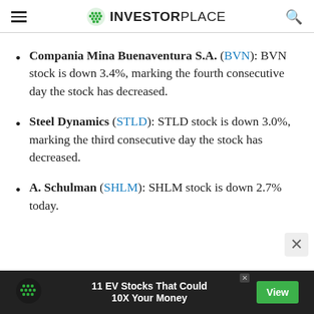INVESTORPLACE
Compania Mina Buenaventura S.A. (BVN): BVN stock is down 3.4%, marking the fourth consecutive day the stock has decreased.
Steel Dynamics (STLD): STLD stock is down 3.0%, marking the third consecutive day the stock has decreased.
A. Schulman (SHLM): SHLM stock is down 2.7% today.
[Figure (advertisement): Ad banner: 11 EV Stocks That Could 10X Your Money with View button]